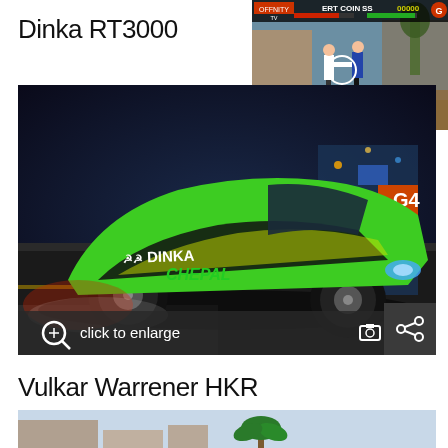Dinka RT3000
[Figure (screenshot): Top-right inset screenshot of a retro-style fighting game (Tekken-like) showing two characters fighting, with a UI bar at the top showing health/score elements and a red/green HUD.]
[Figure (screenshot): Main large image of a green and yellow Dinka RT3000 sports car with 'DINKA CHEPAL' livery drifting on a street. Overlaid with 'click to enlarge' and '+14' photo icons, plus a share icon.]
Vulkar Warrener HKR
[Figure (screenshot): Partial bottom image showing the beginning of the Vulkar Warrener HKR car image — a street scene with palm trees visible.]